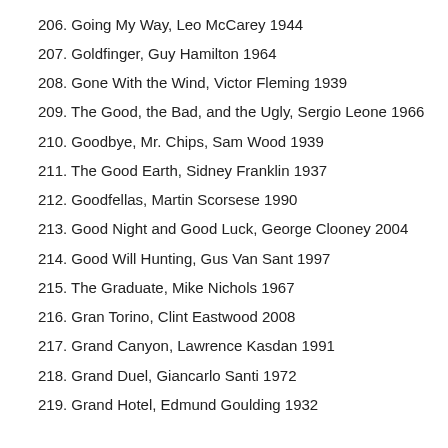206. Going My Way, Leo McCarey 1944
207. Goldfinger, Guy Hamilton 1964
208. Gone With the Wind, Victor Fleming 1939
209. The Good, the Bad, and the Ugly, Sergio Leone 1966
210. Goodbye, Mr. Chips, Sam Wood 1939
211. The Good Earth, Sidney Franklin 1937
212. Goodfellas, Martin Scorsese 1990
213. Good Night and Good Luck, George Clooney 2004
214. Good Will Hunting, Gus Van Sant 1997
215. The Graduate, Mike Nichols 1967
216. Gran Torino, Clint Eastwood 2008
217. Grand Canyon, Lawrence Kasdan 1991
218. Grand Duel, Giancarlo Santi 1972
219. Grand Hotel, Edmund Goulding 1932